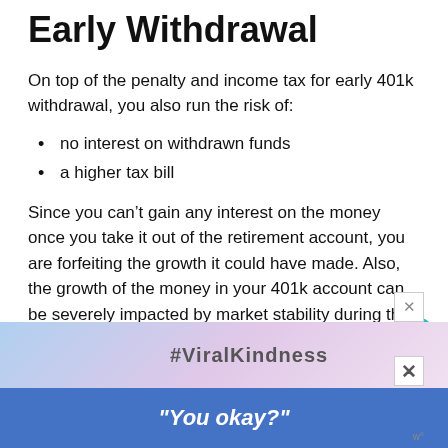Early Withdrawal
On top of the penalty and income tax for early 401k withdrawal, you also run the risk of:
no interest on withdrawn funds
a higher tax bill
Since you can’t gain any interest on the money once you take it out of the retirement account, you are forfeiting the growth it could have made. Also, the growth of the money in your 401k account can be severely impacted by market stability during the time that you make your withdrawal.